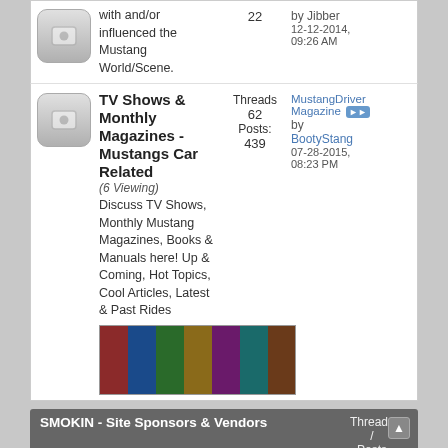with and/or influenced the Mustang World/Scene. 22 by Jibber 12-12-2014, 09:26 AM
TV Shows & Monthly Magazines - Mustangs Car Related
(6 Viewing) Discuss TV Shows, Monthly Mustang Magazines, Books & Manuals here! Up & Coming, Hot Topics, Cool Articles, Latest & Past Rides. Threads: 62 Posts: 439 MustangDriverMagazine by BootyStang 07-28-2015, 08:23 PM
[Figure (photo): Strip of Mustang magazine covers shown side by side]
SMOKIN - Site Sponsors & Vendors Threads / Posts Last Post
Shop FORDPARTSNOW
(3 Viewing) FORDPARTSNOW is the retail affiliate of SmokinStangs.com and the SmokinStangs brand offering Unique Products & Items for your SmokinStang. Threads: 1 Posts: 42 STO N SHO™ - No Drill... by SmokinStang 07-02-2016, 11:54 AM
Sponsors, Vendors Threads Another car